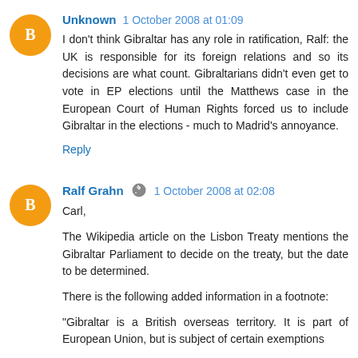Unknown  1 October 2008 at 01:09
I don't think Gibraltar has any role in ratification, Ralf: the UK is responsible for its foreign relations and so its decisions are what count. Gibraltarians didn't even get to vote in EP elections until the Matthews case in the European Court of Human Rights forced us to include Gibraltar in the elections - much to Madrid's annoyance.
Reply
Ralf Grahn  1 October 2008 at 02:08
Carl,
The Wikipedia article on the Lisbon Treaty mentions the Gibraltar Parliament to decide on the treaty, but the date to be determined.
There is the following added information in a footnote:
"Gibraltar is a British overseas territory. It is part of European Union, but is subject of certain exemptions